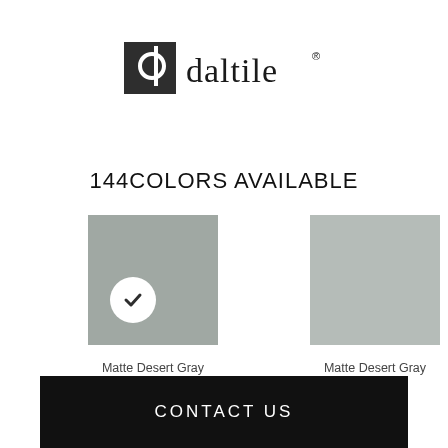[Figure (logo): Daltile logo with stylized 'd' icon in dark square and 'daltile' text with registered trademark symbol]
144COLORS AVAILABLE
[Figure (other): Gray tile swatch color sample with white checkmark circle overlay, labeled Matte Desert Gray]
[Figure (other): Gray tile swatch color sample, labeled Matte Desert Gray]
CONTACT US